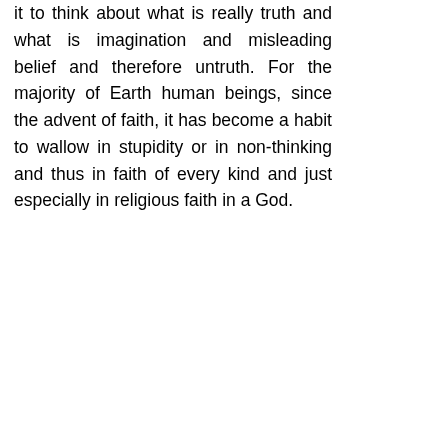it to think about what is really truth and what is imagination and misleading belief and therefore untruth. For the majority of Earth human beings, since the advent of faith, it has become a habit to wallow in stupidity or in non-thinking and thus in faith of every kind and just especially in religious faith in a God.